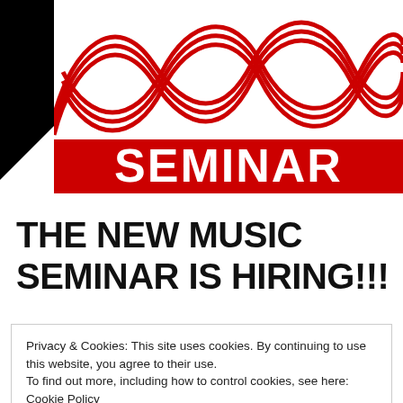[Figure (logo): Seminar logo with red wave/DNA motif graphic above a red rectangle with white bold text SEMINAR, and a black triangle in the top-left corner]
THE NEW MUSIC SEMINAR IS HIRING!!!
Posted on 09/10/2012
Privacy & Cookies: This site uses cookies. By continuing to use this website, you agree to their use.
To find out more, including how to control cookies, see here: Cookie Policy
and convenience. Sales Team Reps